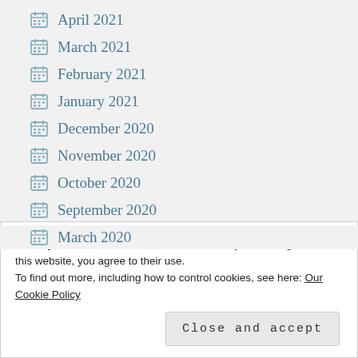April 2021
March 2021
February 2021
January 2021
December 2020
November 2020
October 2020
September 2020
August 2020
Privacy & Cookies: This site uses cookies. By continuing to use this website, you agree to their use.
To find out more, including how to control cookies, see here: Our Cookie Policy
March 2020